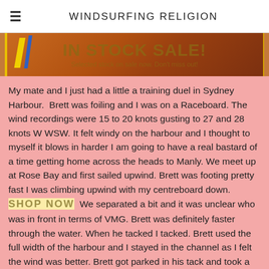WINDSURFING RELIGION
[Figure (photo): Partial photo of a windsurfing board/equipment with yellow and blue accents on an orange/brown surface, partially visible at top of page with pink background. Overlaid with promotional text 'IN STOCK SALE!' and 'Selected stock on sale now. Don't miss out!' and 'SHOP NOW']
My mate and I just had a little a training duel in Sydney Harbour.  Brett was foiling and I was on a Raceboard. The wind recordings were 15 to 20 knots gusting to 27 and 28 knots W WSW. It felt windy on the harbour and I thought to myself it blows in harder I am going to have a real bastard of a time getting home across the heads to Manly. We meet up at Rose Bay and first sailed upwind. Brett was footing pretty fast I was climbing upwind with my centreboard down.  We separated a bit and it was unclear who was in front in terms of VMG. Brett was definitely faster through the water. When he tacked I tacked. Brett used the full width of the harbour and I stayed in the channel as I felt the wind was better. Brett got parked in his tack and took a little while to get foiling again. I was powering along and Brett pass behind and to leeward of